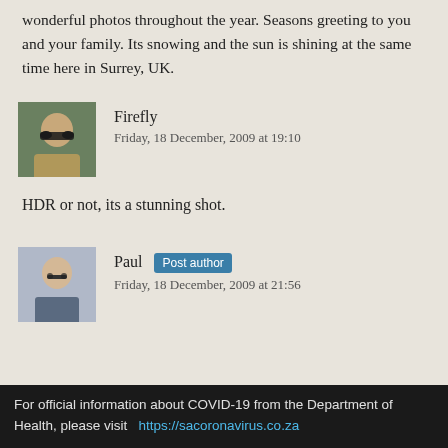wonderful photos throughout the year. Seasons greeting to you and your family. Its snowing and the sun is shining at the same time here in Surrey, UK.
Firefly
Friday, 18 December, 2009 at 19:10
HDR or not, its a stunning shot.
Paul Post author
Friday, 18 December, 2009 at 21:56
For official information about COVID-19 from the Department of Health, please visit  https://sacoronavirus.co.za